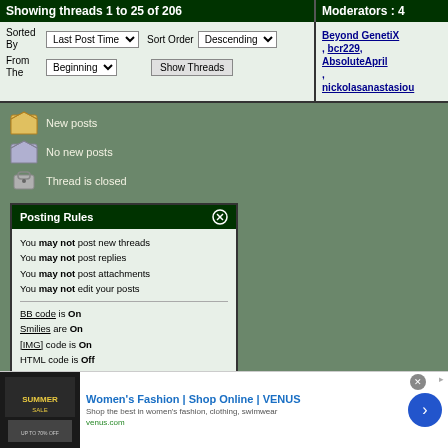Showing threads 1 to 25 of 206
Moderators : 4
Sorted By Last Post Time Sort Order Descending From The Beginning Show Threads
Beyond GenetiX, bcr229, AbsoluteApril, nickolasanastasiou
New posts
No new posts
Thread is closed
Posting Rules
You may not post new threads
You may not post replies
You may not post attachments
You may not edit your posts
BB code is On
Smilies are On
[IMG] code is On
HTML code is Off
[Figure (other): Advertisement: Women's Fashion | Shop Online | VENUS]